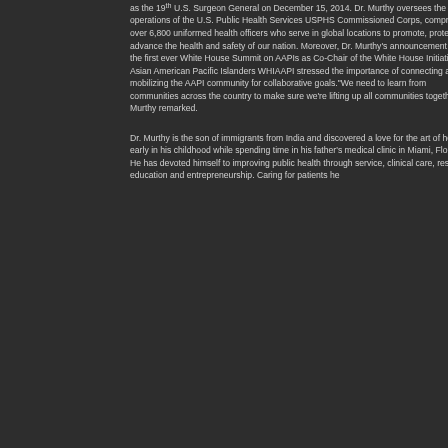May 16, 2015 Washington DC — Vice Admiral Vivek Murthy M.D., M.B.A. was confirmed as the 19th U.S. Surgeon General on December 15, 2014. Dr. Murthy oversees the operations of the U.S. Public Health Services USPHS Commissioned Corps, comprised of over 6,800 uniformed health officers who serve in global locations to promote, protect and advance the health and safety of our nation. Moreover, Dr. Murthy's announcement during the first ever White House Summit on AAPIs as Co-Chair of the White House Initiative on Asian American Pacific Islanders WHIAAPI stressed the importance of connecting and mobilizing the AAPI community for collaborative goals."We need to learn from communities across the country to make sure we're lifting up all communities together," Murthy remarked.
Dr. Murthy is the son of immigrants from India and discovered a love for the art of healing early in his childhood while spending time in his father's medical clinic in Miami, Florida. He has devoted himself to improving public health through service, clinical care, research, education and entrepreneurship. Caring for patients he